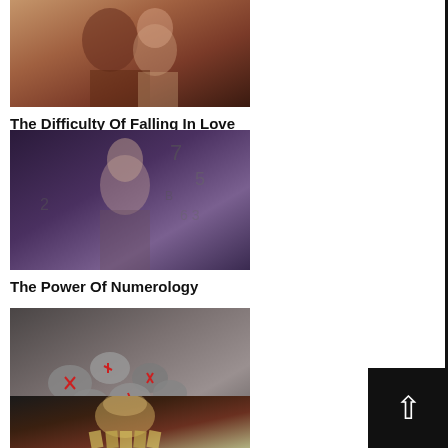[Figure (photo): A couple closely together, man with beard and woman with red hair, warm tones]
The Difficulty Of Falling In Love
[Figure (photo): A woman with dark hair looking up, background with numbers visible, dark purple/grey tones]
The Power Of Numerology
[Figure (photo): A collection of grey stones/runes with red markings on them arranged in a pile]
Runestone Readings
[Figure (photo): A blonde woman with red lipstick holding tarot/playing cards, dark background]